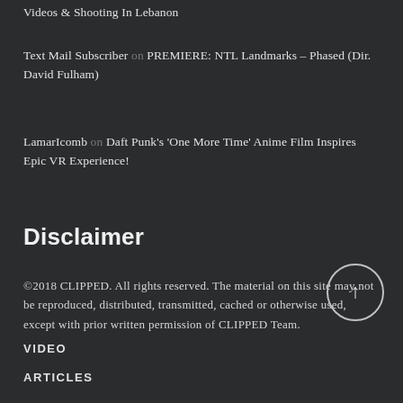Videos & Shooting In Lebanon
Text Mail Subscriber on PREMIERE: NTL Landmarks – Phased (Dir. David Fulham)
LamarIcomb on Daft Punk's 'One More Time' Anime Film Inspires Epic VR Experience!
Disclaimer
©2018 CLIPPED. All rights reserved. The material on this site may not be reproduced, distributed, transmitted, cached or otherwise used, except with prior written permission of CLIPPED Team.
VIDEO
ARTICLES